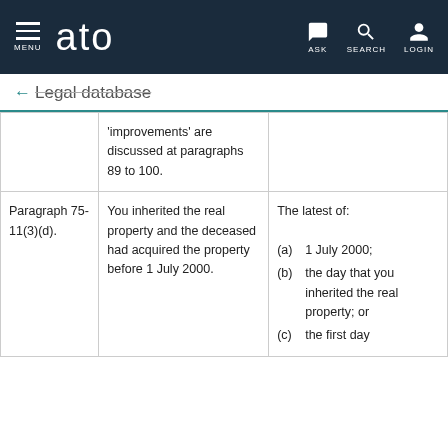MENU | ato | ASK | SEARCH | LOGIN
← Legal database
|  |  |  |
| --- | --- | --- |
|  | 'improvements' are discussed at paragraphs 89 to 100. |  |
| Paragraph 75-11(3)(d). | You inherited the real property and the deceased had acquired the property before 1 July 2000. | The latest of:
(a) 1 July 2000;
(b) the day that you inherited the real property; or
(c) the first day... |